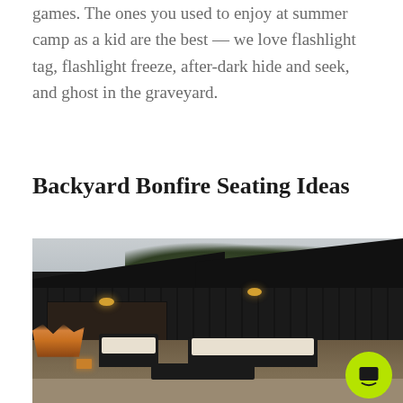games. The ones you used to enjoy at summer camp as a kid are the best — we love flashlight tag, flashlight freeze, after-dark hide and seek, and ghost in the graveyard.
Backyard Bonfire Seating Ideas
[Figure (photo): Outdoor patio area in front of a modern dark-painted building with board and batten siding. Black wicker furniture with white cushions arranged around a rectangular fire table on gravel. Wall-mounted lights on building exterior. Orange ornamental grasses visible on left. Trees in background against gray sky. Amazon chat icon visible in bottom right corner.]